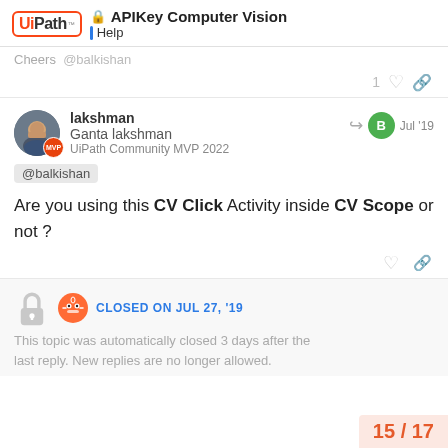APIKey Computer Vision | Help
Cheers @balkishan
1 like
lakshman
Ganta lakshman
UiPath Community MVP 2022
Jul '19
@balkishan
Are you using this CV Click Activity inside CV Scope or not ?
CLOSED ON JUL 27, '19
This topic was automatically closed 3 days after the last reply. New replies are no longer allowed.
15 / 17